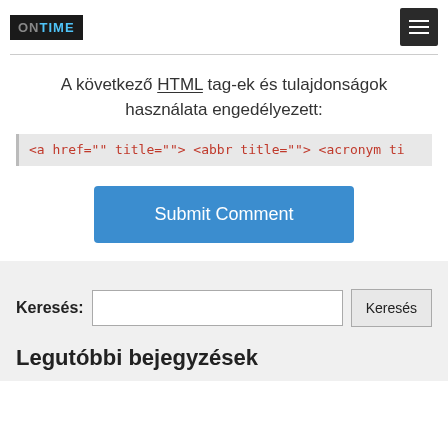ONTIME [logo] + menu button
A következő HTML tag-ek és tulajdonságok használata engedélyezett:
<a href="" title=""> <abbr title=""> <acronym ti
Submit Comment
Keresés:
Legutóbbi bejegyzések